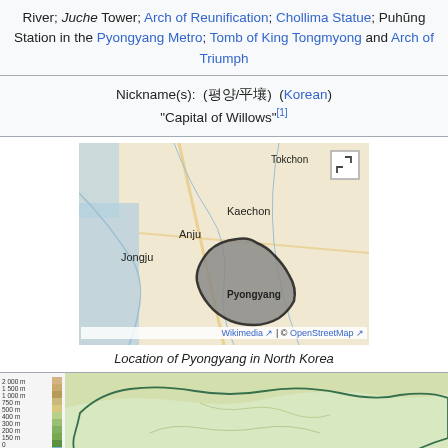River; Juche Tower; Arch of Reunification; Chollima Statue; Puhŭng Station in the Pyongyang Metro; Tomb of King Tongmyong and Arch of Triumph
Nickname(s): (평양/平壤) (Korean) "Capital of Willows"[1]
[Figure (map): Map showing location of Pyongyang in North Korea, with surrounding cities Jongju, Kaechon, Tokchon, Anju labeled. Pyongyang region highlighted in grey with bold black border.]
Location of Pyongyang in North Korea
[Figure (map): Topographic/elevation relief map of North Korea showing terrain with elevation legend on left side.]